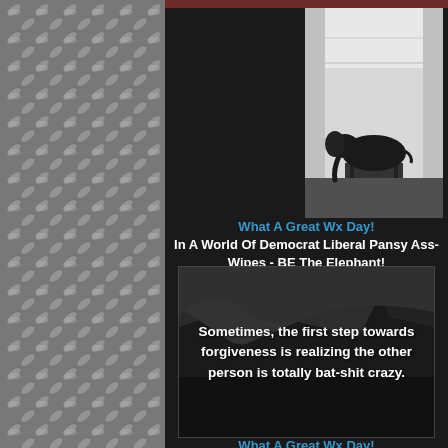[Figure (photo): Diamond plate metal texture background on left side]
[Figure (photo): Black and white photo of an elephant figurine or sculpture on a stand, with a bright white background suggesting a large indoor space]
What A Great Wx Day!
In A World Of Democrat Liberal Pansy Ass-Wipes - BE The Elephant!
[Figure (photo): Dark moody image with rocks/stones in background, white text overlay reading: Sometimes, the first step towards forgiveness is realizing the other person is totally bat-shit crazy.]
What A Great Wx Day!